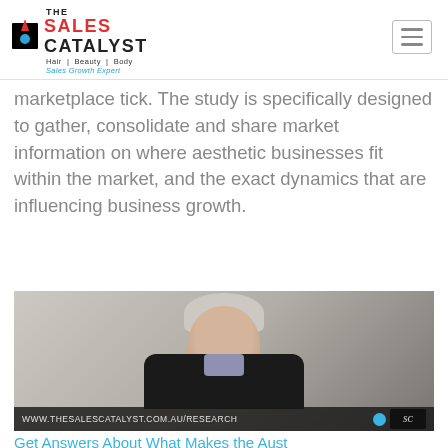THE SALES CATALYST Hair | Beauty | Body Sales Growth Expert
marketplace tick. The study is specifically designed to gather, consolidate and share market information on where aesthetic businesses fit within the market, and the exact dynamics that are influencing business growth.
[Figure (photo): Video thumbnail showing a middle-aged man with grey hair wearing a dark blazer and checked shirt, with URL bar at bottom reading WWW.THESALESCATALYST.COM.AU/RESEARCH and SC logo]
Get Answers About What Makes the Aust